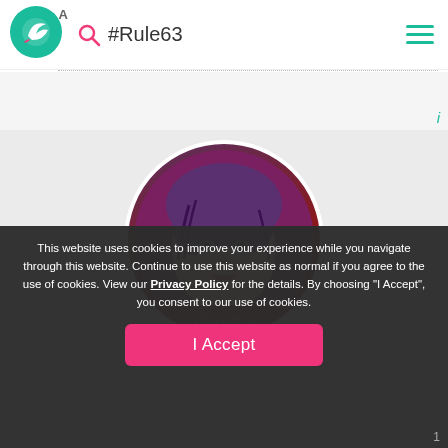[Figure (screenshot): Website navigation bar with teal logo, search icon, #Rule63 hashtag text, and hamburger menu icon]
[Figure (photo): Circular avatar image of a 3D rendered female character with purple hair and dark eye makeup]
This website uses cookies to improve your experience while you navigate through this website. Continue to use this website as normal if you agree to the use of cookies. View our Privacy Policy for the details. By choosing "I Accept", you consent to our use of cookies.
I Accept